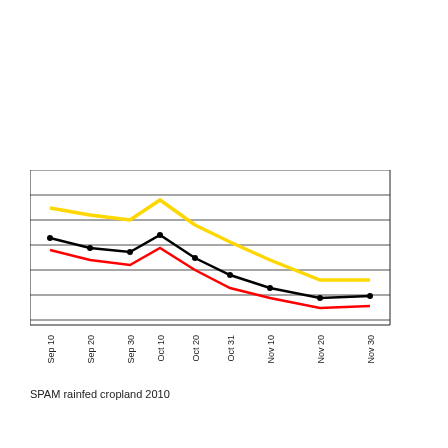[Figure (line-chart): SPAM rainfed cropland 2010]
SPAM rainfed cropland 2010